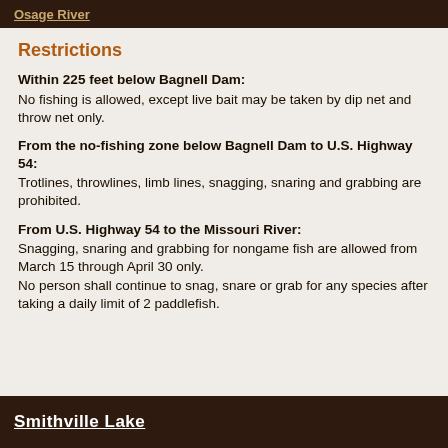Osage River
Restrictions
Within 225 feet below Bagnell Dam: No fishing is allowed, except live bait may be taken by dip net and throw net only.
From the no-fishing zone below Bagnell Dam to U.S. Highway 54: Trotlines, throwlines, limb lines, snagging, snaring and grabbing are prohibited.
From U.S. Highway 54 to the Missouri River: Snagging, snaring and grabbing for nongame fish are allowed from March 15 through April 30 only. No person shall continue to snag, snare or grab for any species after taking a daily limit of 2 paddlefish.
Smithville Lake